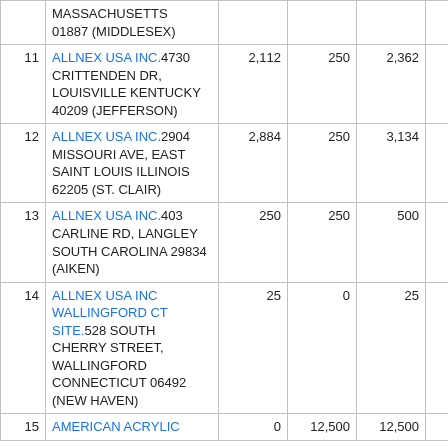| # | Facility | Col3 | Col4 | Col5 | Col6 | Col7 |
| --- | --- | --- | --- | --- | --- | --- |
|  | MASSACHUSETTS 01887 (MIDDLESEX) |  |  |  |  |  |
| 11 | ALLNEX USA INC.4730 CRITTENDEN DR, LOUISVILLE KENTUCKY 40209 (JEFFERSON) | 2,112 | 250 | 2,362 | 0 |  |
| 12 | ALLNEX USA INC.2904 MISSOURI AVE, EAST SAINT LOUIS ILLINOIS 62205 (ST. CLAIR) | 2,884 | 250 | 3,134 | 0 |  |
| 13 | ALLNEX USA INC.403 CARLINE RD, LANGLEY SOUTH CAROLINA 29834 (AIKEN) | 250 | 250 | 500 | 0 |  |
| 14 | ALLNEX USA INC WALLINGFORD CT SITE.528 SOUTH CHERRY STREET, WALLINGFORD CONNECTICUT 06492 (NEW HAVEN) | 25 | 0 | 25 | 2 |  |
| 15 | AMERICAN ACRYLIC | 0 | 12,500 | 12,500 | 0 |  |